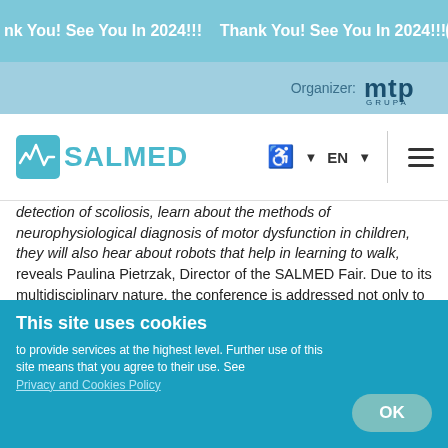Thank You! See You In 2024!!! Thank You! See You In 2024!!!
[Figure (logo): MTP Grupa organizer logo with text 'Organizer: mtp GRUPA']
[Figure (logo): SALMED logo with heartbeat icon and teal text]
detection of scoliosis, learn about the methods of neurophysiological diagnosis of motor dysfunction in children, they will also hear about robots that help in learning to walk, reveals Paulina Pietrzak, Director of the SALMED Fair. Due to its multidisciplinary nature, the conference is addressed not only to physiotherapists, but also for doctors, nurses and other medical specialities related to rehabilitation in developmental disorders of children and
This site uses cookies
to provide services at the highest level. Further use of this site means that you agree to their use. See Privacy and Cookies Policy